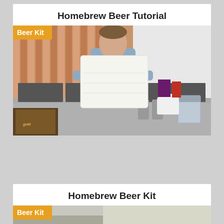Homebrew Beer Tutorial
[Figure (photo): A man holding a large white fermentation bucket/lid in a kitchen or lab setting with orange vertical blinds in the background, stainless steel countertop with various brewing equipment. A 'Beer Kit' badge overlays top-left corner.]
Homebrew Beer Kit
[Figure (photo): Partial view of homebrew beer kit scene with a 'Beer Kit' badge in top-left corner.]